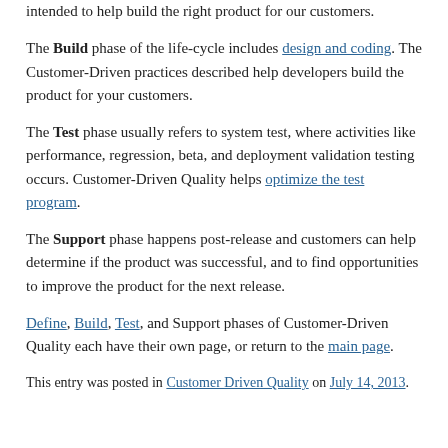intended to help build the right product for our customers.
The Build phase of the life-cycle includes design and coding. The Customer-Driven practices described help developers build the product for your customers.
The Test phase usually refers to system test, where activities like performance, regression, beta, and deployment validation testing occurs. Customer-Driven Quality helps optimize the test program.
The Support phase happens post-release and customers can help determine if the product was successful, and to find opportunities to improve the product for the next release.
Define, Build, Test, and Support phases of Customer-Driven Quality each have their own page, or return to the main page.
This entry was posted in Customer Driven Quality on July 14, 2013.